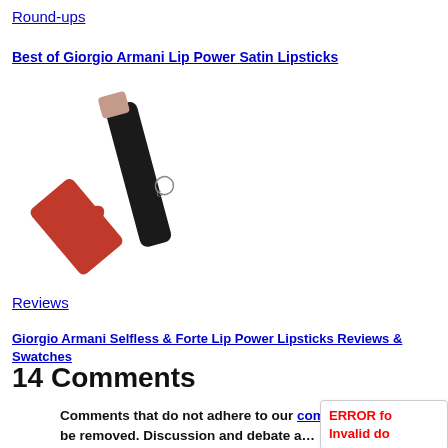Round-ups
Best of Giorgio Armani Lip Power Satin Lipsticks
[Figure (photo): Giorgio Armani Lip Power Satin lipstick product photo showing the lipstick with cap removed, black tube and red cap]
Reviews
Giorgio Armani Selfless & Forte Lip Power Lipsticks Reviews & Swatches
14 Comments
Comments that do not adhere to our comment policy may be removed. Discussion and debate are highly encouraged but we expect community